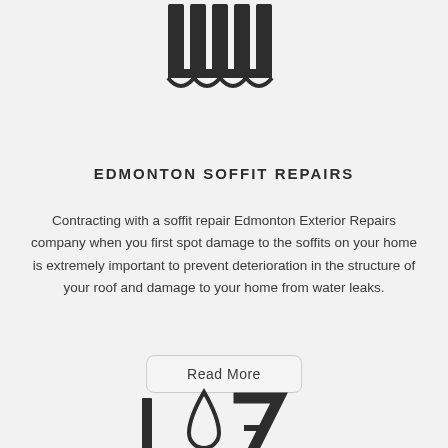[Figure (logo): Architectural/soffit icon made of vertical rectangular bars at the top of the page]
EDMONTON SOFFIT REPAIRS
Contracting with a soffit repair Edmonton Exterior Repairs company when you first spot damage to the soffits on your home is extremely important to prevent deterioration in the structure of your roof and damage to your home from water leaks.
Read More
[Figure (logo): Water drop icon with vertical bar and stylized number 7, representing a logo or section icon at the bottom of the page]